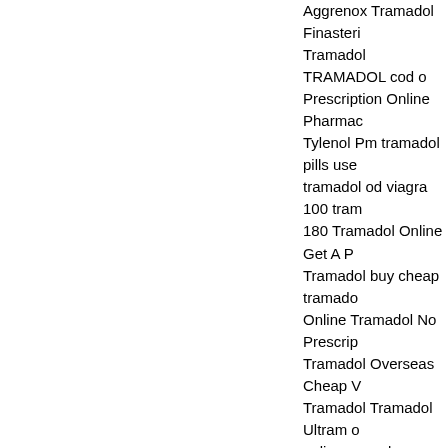Aggrenox Tramadol Finasteri Tramadol TRAMADOL cod o Prescription Online Pharmac Tylenol Pm tramadol pills use tramadol od viagra 100 tram 180 Tramadol Online Get A P Tramadol buy cheap tramado Online Tramadol No Prescrip Tramadol Overseas Cheap V Tramadol Tramadol Ultram o online soma buy tramadol no Endometriosis tramadol phar ratiopharm 50 mg tramadol w tramadol without prescription new zealand tramadol discou customer service a good web Tramadol Discount Prescripti No Prescription Drugs Trama and whining Tramadol Taste i drug Addiction Sniffing Trama Buy Tramadol Drug Drug Pre Tramadol Tramadol Dosage ( No Prescription Buy Tramado